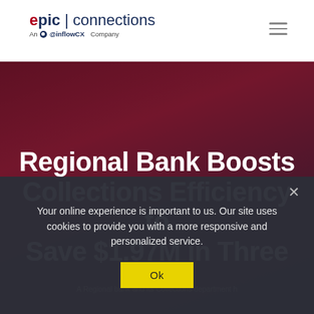[Figure (logo): Epic Connections logo - An InflowCX Company]
Regional Bank Boosts Collections Efficiency to Save $1.97M in Three
A Regional bank and its Collections department h
Your online experience is important to us. Our site uses cookies to provide you with a more responsive and personalized service.